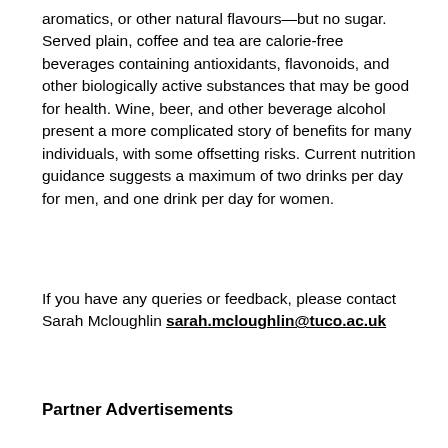aromatics, or other natural flavours—but no sugar. Served plain, coffee and tea are calorie-free beverages containing antioxidants, flavonoids, and other biologically active substances that may be good for health. Wine, beer, and other beverage alcohol present a more complicated story of benefits for many individuals, with some offsetting risks. Current nutrition guidance suggests a maximum of two drinks per day for men, and one drink per day for women.
If you have any queries or feedback, please contact Sarah Mcloughlin sarah.mcloughlin@tuco.ac.uk
Partner Advertisements